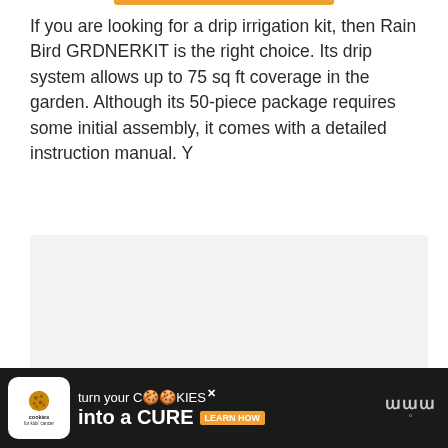If you are looking for a drip irrigation kit, then Rain Bird GRDNERKIT is the right choice. Its drip system allows up to 75 sq ft coverage in the garden. Although its 50-piece package requires some initial assembly, it comes with a detailed instruction manual. Y
[Figure (other): Gray placeholder box for an image or content block]
[Figure (other): Advertisement banner: 'cookies for kids cancer — turn your COOKIES into a CURE LEARN HOW' with a cookie logo on black background, and a weather app logo on the right.]